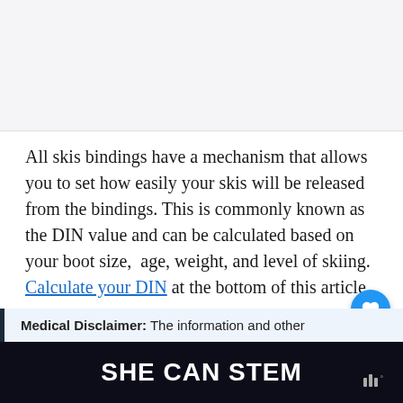[Figure (photo): Light gray image area placeholder at top of page]
All skis bindings have a mechanism that allows you to set how easily your skis will be released from the bindings. This is commonly known as the DIN value and can be calculated based on your boot size,  age, weight, and level of skiing. Calculate your DIN at the bottom of this article.
Medical Disclaimer: The information and other
SHE CAN STEM